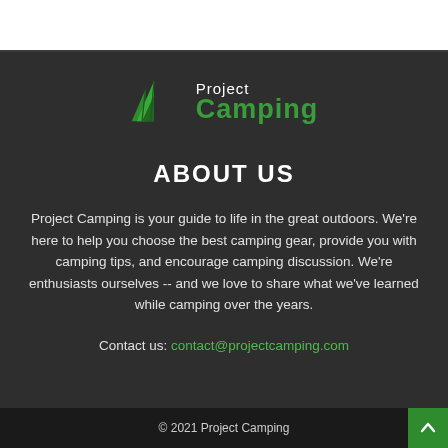[Figure (logo): Project Camping logo with green tent/tree icon and text 'Project Camping']
ABOUT US
Project Camping is your guide to life in the great outdoors. We're here to help you choose the best camping gear, provide you with camping tips, and encourage camping discussion. We're enthusiasts ourselves -- and we love to share what we've learned while camping over the years.
Contact us: contact@projectcamping.com
© 2021 Project Camping